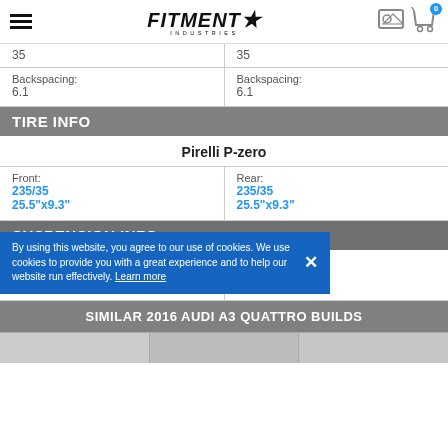Fitment Industries
35
35
Backspacing: 6.1
Backspacing: 6.1
TIRE INFO
Pirelli P-zero
Front: 235/35 25.5"x9.3"
Rear: 235/35 25.5"x9.3"
SUSPENSION INFO
By using this website, you agree to our use of cookies. We use cookies to provide you with a great experience and to help our website run effectively. Learn more
Suspension,
Springs
SIMILAR 2016 AUDI A3 QUATTRO BUILDS
[Figure (photo): Bottom thumbnail strip showing vehicle build images]